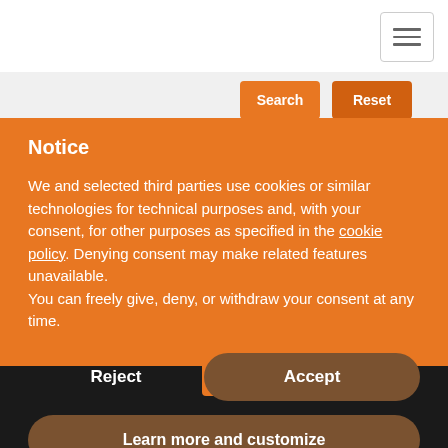[Figure (screenshot): Navigation bar with hamburger menu icon (three horizontal lines) on right side]
[Figure (screenshot): Gray bar with orange Search and Reset buttons on the right]
Stay updated
Join our mailing list
Subscribe
Notice
We and selected third parties use cookies or similar technologies for technical purposes and, with your consent, for other purposes as specified in the cookie policy. Denying consent may make related features unavailable.
You can freely give, deny, or withdraw your consent at any time.
Reject
Accept
Learn more and customize
[Figure (screenshot): Orange up-arrow button centered above footer]
Copyright © 2015 EASEE-gas All rights reserved | Privacy Policy | Cookie